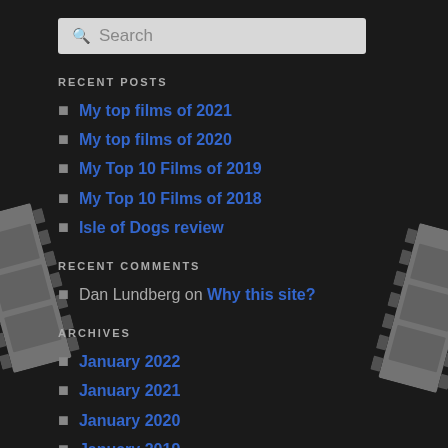Search
RECENT POSTS
My top films of 2021
My top films of 2020
My Top 10 Films of 2019
My Top 10 Films of 2018
Isle of Dogs review
RECENT COMMENTS
Dan Lundberg on Why this site?
ARCHIVES
January 2022
January 2021
January 2020
January 2019
April 2018